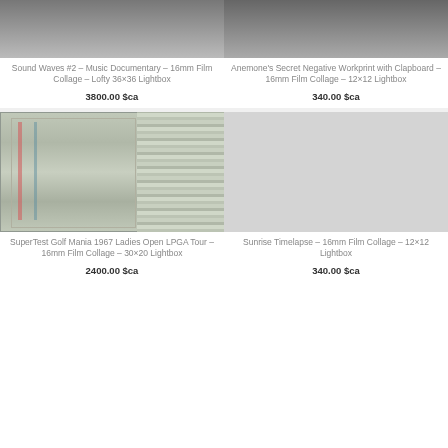[Figure (photo): Top portion of Sound Waves #2 artwork image]
[Figure (photo): Top portion of Anemone's Secret Negative Workprint image]
Sound Waves #2 – Music Documentary – 16mm Film Collage – Lofty 36×36 Lightbox
3800.00 $ca
Anemone's Secret Negative Workprint with Clapboard – 16mm Film Collage – 12×12 Lightbox
340.00 $ca
[Figure (photo): SuperTest Golf Mania 1967 Ladies Open LPGA Tour film collage image showing film strips]
[Figure (photo): Sunrise Timelapse 16mm Film Collage lightbox image – light gray/blank]
SuperTest Golf Mania 1967 Ladies Open LPGA Tour – 16mm Film Collage – 30×20 Lightbox
2400.00 $ca
Sunrise Timelapse – 16mm Film Collage – 12×12 Lightbox
340.00 $ca